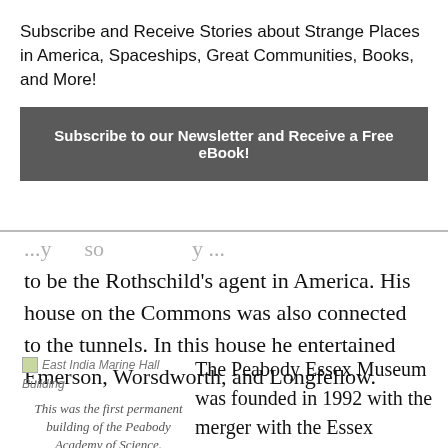Subscribe and Receive Stories about Strange Places in America, Spaceships, Great Communities, Books, and More!
Subscribe to our Newsletter and Receive a Free eBook!
to be the Rothschild’s agent in America. His house on the Commons was also connected to the tunnels. In this house he entertained Emerson, Worsdworth, and Longfellow.
[Figure (photo): East India Marine Hall Building image placeholder]
This was the first permanent building of the Peabody Academy of Science.
The Peabody Essex Museum was founded in 1992 with the merger with the Essex Institute (Essex Historical Society and Essex Natural History Museum) with the